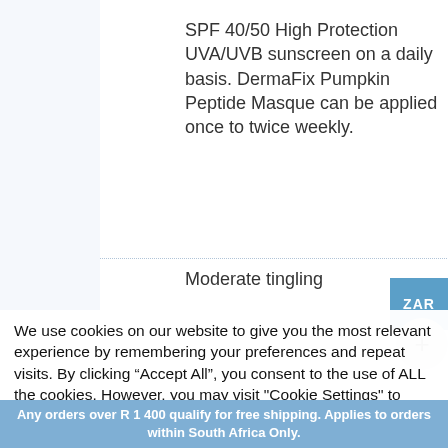SPF 40/50 High Protection UVA/UVB sunscreen on a daily basis. DermaFix Pumpkin Peptide Masque can be applied once to twice weekly.
Moderate tingling
We use cookies on our website to give you the most relevant experience by remembering your preferences and repeat visits. By clicking “Accept All”, you consent to the use of ALL the cookies. However, you may visit "Cookie Settings" to provide a controlled consent.
Any orders over R 1 400 qualify for free shipping. Applies to orders within South Africa Only.
Dismiss